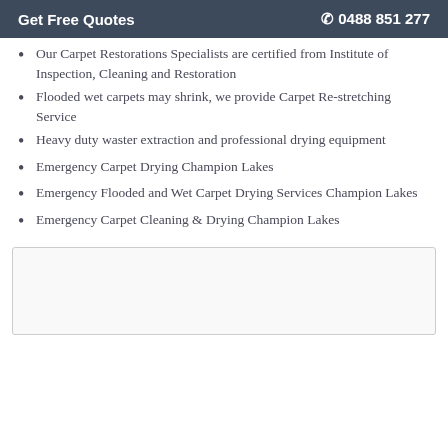Get Free Quotes   ☎ 0488 851 277
Our Carpet Restorations Specialists are certified from Institute of Inspection, Cleaning and Restoration
Flooded wet carpets may shrink, we provide Carpet Re-stretching Service
Heavy duty waster extraction and professional drying equipment
Emergency Carpet Drying Champion Lakes
Emergency Flooded and Wet Carpet Drying Services Champion Lakes
Emergency Carpet Cleaning & Drying Champion Lakes
[Figure (other): Empty box/form area at the bottom of the page]